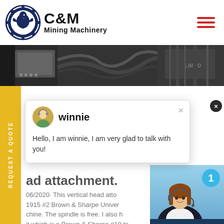[Figure (logo): C&M Mining Machinery logo with eagle gear emblem in dark navy blue circle, company name in bold black text]
[Figure (photo): Hero banner image showing industrial mining machinery, cables and equipment in dark tones]
[Figure (screenshot): Live chat popup widget with avatar of winnie (customer support agent), message 'Hello, I am winnie, I am very glad to talk with you!']
ad attachment.
06/2020· This vertical head atto 1915 #2 Brown & Sharpe Univer chine. The spindle is free. I also h it which is a Brown & Sharpe #10 to photos. I will also be parting out the machine
[Figure (photo): Customer support agent woman with headset smiling, with notification badge showing number 1, Click to Chat button, and Enquiry label below]